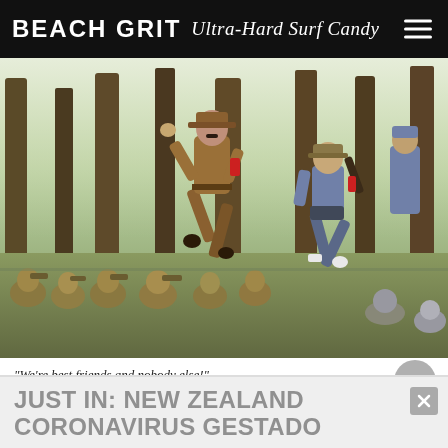BEACH GRIT Ultra-Hard Surf Candy
[Figure (photo): Movie still from Jojo Rabbit showing costumed figures jumping in a forest, with children in military-style uniforms sitting in the foreground. One adult figure in brown uniform leaps with fist raised, another youth figure jumps to the right.]
"We're best friends and nobody else!"
JUST IN: NEW ZEALAND CORONAVIRUS GESTADO